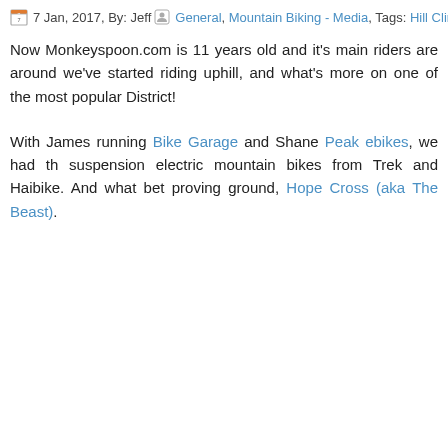7 Jan, 2017, By: Jeff  General, Mountain Biking - Media, Tags: Hill Climb
Now Monkeyspoon.com is 11 years old and it's main riders are around we've started riding uphill, and what's more on one of the most popular District!
With James running Bike Garage and Shane Peak ebikes, we had th suspension electric mountain bikes from Trek and Haibike. And what bet proving ground, Hope Cross (aka The Beast).